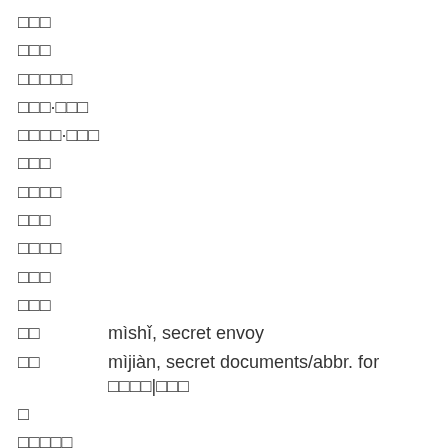□□□
□□□
□□□□□
□□□·□□□
□□□□·□□□
□□□
□□□□
□□□
□□□□
□□□
□□□
□□   mìshǐ, secret envoy
□□   mìjiàn, secret documents/abbr. for □□□□|□□□
□
□□□□□
□□·□□□
□□□